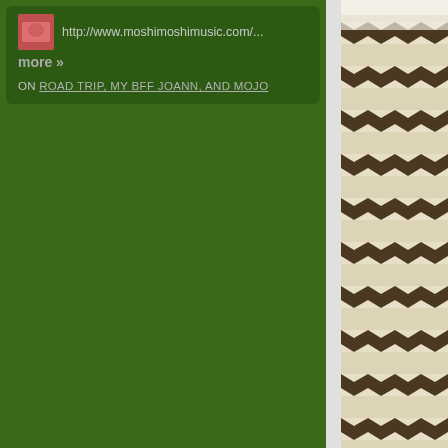http://www.moshimoshimusic.com/...
more »
ON ROAD TRIP, MY BFF JOANN, AND MOJO
[Figure (photo): Close-up photo of knitted fabric with cream/white and dark brown chevron zigzag pattern, blurred/defocused]